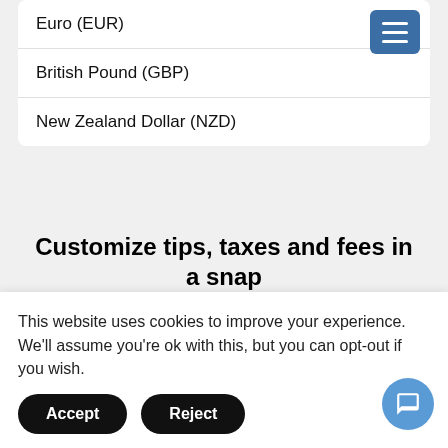Euro (EUR)
British Pound (GBP)
New Zealand Dollar (NZD)
Customize tips, taxes and fees in a snap
[Figure (screenshot): App navigation bar showing Amount, Payment, Charge tabs in a rounded blue pill shape]
This website uses cookies to improve your experience. We'll assume you're ok with this, but you can opt-out if you wish.
Accept
Reject